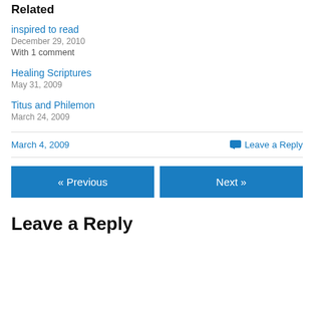Related
inspired to read
December 29, 2010
With 1 comment
Healing Scriptures
May 31, 2009
Titus and Philemon
March 24, 2009
March 4, 2009
Leave a Reply
« Previous
Next »
Leave a Reply